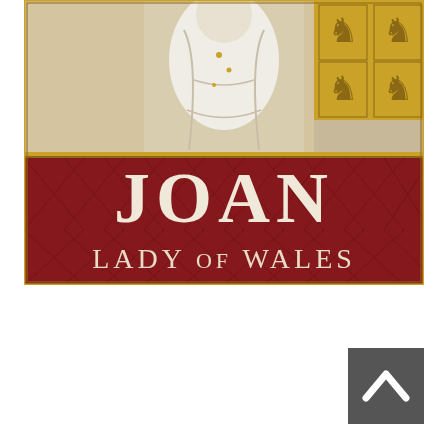[Figure (illustration): Book cover for 'Joan, Lady of Wales'. The top portion shows a medieval illustration of a robed figure (Joan) in white and cream tones with heraldic lion symbols on gold background. The bottom portion has a dark red/crimson decorative background with ornate scroll patterns, with text 'JOAN' in large cream serif letters on top and 'LADY OF WALES' in smaller cream serif letters below.]
[Figure (illustration): A dark grey square button with an upward-pointing chevron/caret arrow icon in white, positioned in the bottom-right area of the page. Resembles a scroll-to-top navigation button.]